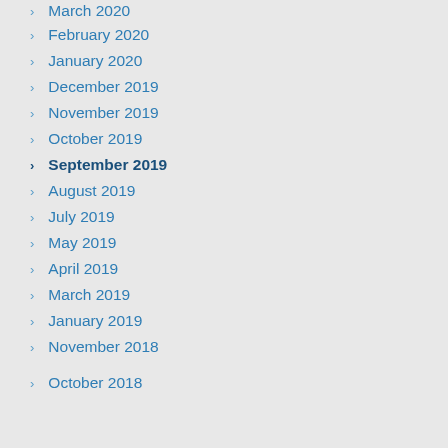March 2020
February 2020
January 2020
December 2019
November 2019
October 2019
September 2019
August 2019
July 2019
May 2019
April 2019
March 2019
January 2019
November 2018
October 2018